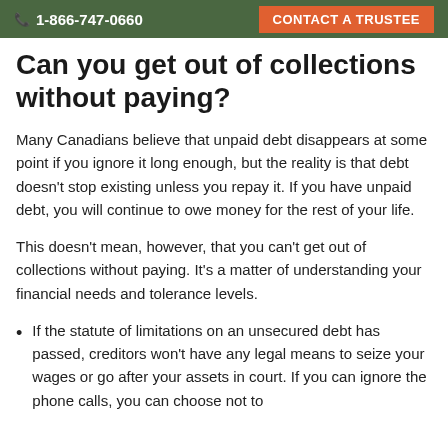1-866-747-0660  CONTACT A TRUSTEE
Can you get out of collections without paying?
Many Canadians believe that unpaid debt disappears at some point if you ignore it long enough, but the reality is that debt doesn't stop existing unless you repay it. If you have unpaid debt, you will continue to owe money for the rest of your life.
This doesn't mean, however, that you can't get out of collections without paying. It's a matter of understanding your financial needs and tolerance levels.
If the statute of limitations on an unsecured debt has passed, creditors won't have any legal means to seize your wages or go after your assets in court. If you can ignore the phone calls, you can choose not to